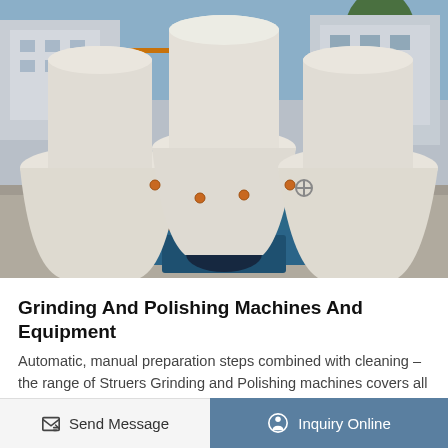[Figure (photo): Outdoor industrial photo showing multiple large white cone-shaped grinding/milling machines mounted on blue metal frames/stands, set on a concrete surface with a factory building and trees in the background.]
Grinding And Polishing Machines And Equipment
Automatic, manual preparation steps combined with cleaning – the range of Struers Grinding and Polishing machines covers all preparation steps.